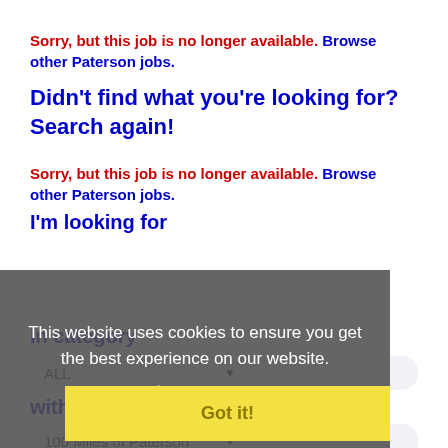Sorry, but this job is no longer available. Browse other Paterson jobs.
Didn't find what you're looking for? Search again!
Sorry, but this job is no longer available. Browse other Paterson jobs.
I'm looking for
This website uses cookies to ensure you get the best experience on our website. Learn more
Got it!
in category
ALL
within
100 Miles of Paterson